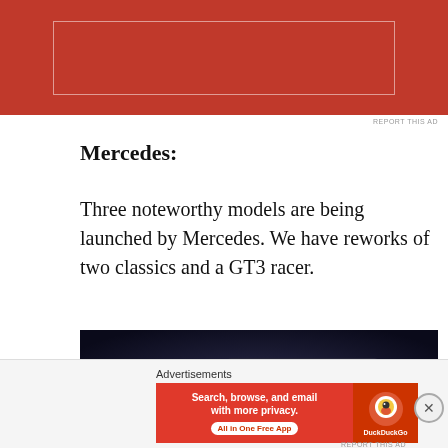[Figure (other): Red advertisement banner at top of page with white border rectangle inside]
REPORT THIS AD
Mercedes:
Three noteworthy models are being launched by Mercedes. We have reworks of two classics and a GT3 racer.
[Figure (photo): Dark photograph of two luxury Mercedes vehicles (appears to be Maybach/S-Class models) against a dark background]
Advertisements
[Figure (other): DuckDuckGo advertisement banner: 'Search, browse, and email with more privacy. All in One Free App' with DuckDuckGo logo on right]
REPORT THIS AD